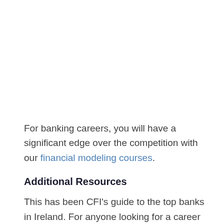For banking careers, you will have a significant edge over the competition with our financial modeling courses.
Additional Resources
This has been CFI's guide to the top banks in Ireland. For anyone looking for a career in banking, this list is a great place to start your networking. Please also see these additional resources: